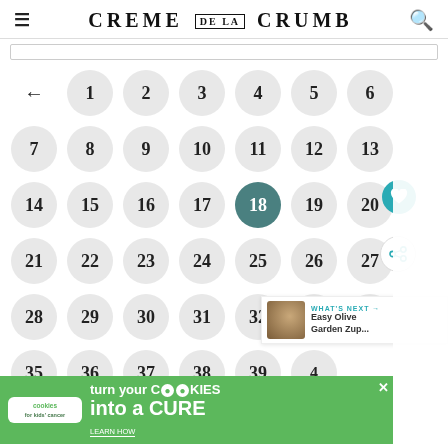CREME DE LA CRUMB
[Figure (screenshot): Calendar number picker interface showing numbers 1-48 arranged in a grid of circles. Number 18 is highlighted in teal/dark green. Back arrow on left. Overlays include heart and share icons. 'WHAT'S NEXT' panel showing 'Easy Olive Garden Zup...' text. Advertisement banner at bottom: 'turn your COOKIES into a CURE LEARN HOW' by cookies for kids cancer.]